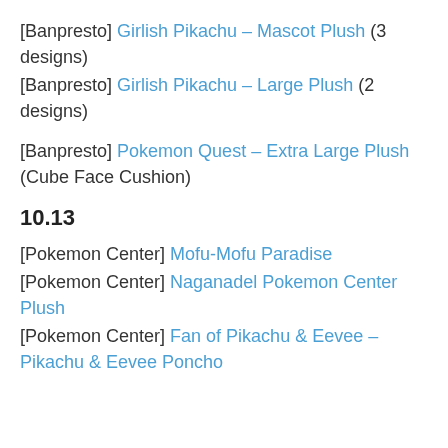[Banpresto] Girlish Pikachu – Mascot Plush (3 designs)
[Banpresto] Girlish Pikachu – Large Plush (2 designs)
[Banpresto] Pokemon Quest – Extra Large Plush (Cube Face Cushion)
10.13
[Pokemon Center] Mofu-Mofu Paradise
[Pokemon Center] Naganadel Pokemon Center Plush
[Pokemon Center] Fan of Pikachu & Eevee – Pikachu & Eevee Poncho